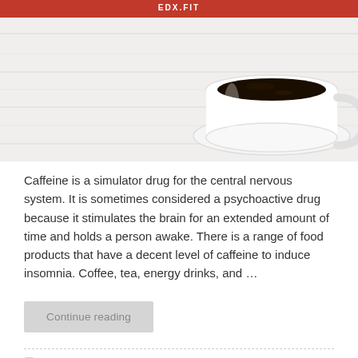EDX.FIT
[Figure (photo): Top-view photo of a white coffee cup with black coffee on a white wooden surface]
Caffeine is a simulator drug for the central nervous system. It is sometimes considered a psychoactive drug because it stimulates the brain for an extended amount of time and holds a person awake. There is a range of food products that have a decent level of caffeine to induce insomnia. Coffee, tea, energy drinks, and …
Continue reading
≡ Category: ED Blog  🏷 Tags: ED, Erectile Dysfunction, Erectile Dysfunction Medication, Erectile Dysfunction natural treatment, Erectile Dysfunction Treatment